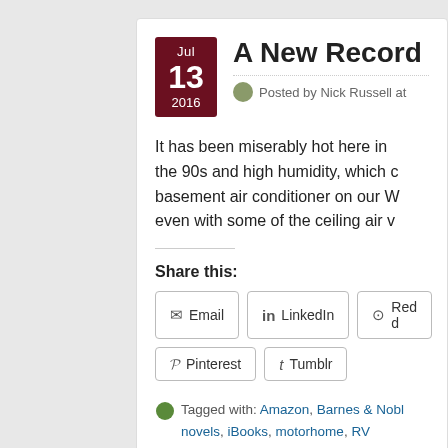A New Record
Posted by Nick Russell at
It has been miserably hot here in the 90s and high humidity, which the basement air conditioner on our V even with some of the ceiling air v
Share this:
Email | LinkedIn | Reddit
Pinterest | Tumblr
Tagged with: Amazon, Barnes & Nobl novels, iBooks, motorhome, RV basement fuel mileage, RV manufacturers, RV sales motorhome, writing and self-publishing